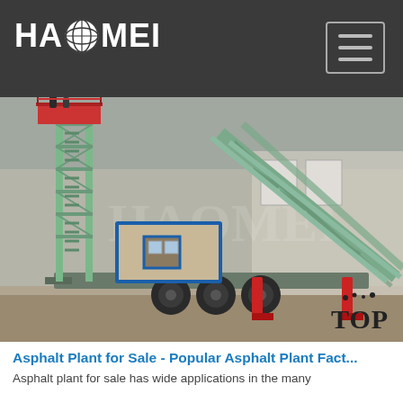[Figure (logo): HAOMEI company logo in white text on dark gray background with globe icon between HA and MEI]
[Figure (photo): Mobile asphalt plant on a trailer with green metal framework, a small control cabin with blue trim, red stabilizer legs, and a tall green ladder/tower structure on the left; photographed outdoors at a factory yard]
Asphalt Plant for Sale - Popular Asphalt Plant Fact...
Asphalt plant for sale has wide applications in the many